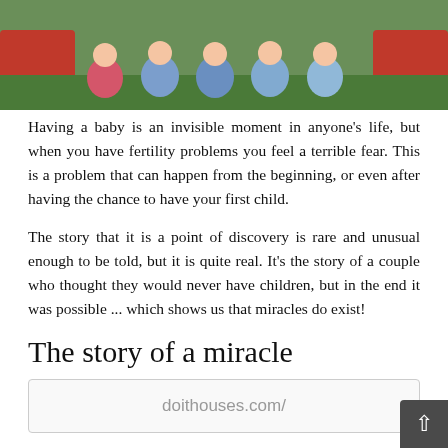[Figure (photo): Children sitting on grass in front of red ride-on toy cars/tractors]
Having a baby is an invisible moment in anyone's life, but when you have fertility problems you feel a terrible fear. This is a problem that can happen from the beginning, or even after having the chance to have your first child.
The story that it is a point of discovery is rare and unusual enough to be told, but it is quite real. It's the story of a couple who thought they would never have children, but in the end it was possible ... which shows us that miracles do exist!
The story of a miracle
[Figure (other): Watermark box with text: doithouses.com/]
It is quite common today to read stories about multiple pregnancies. But what we are talking about here is one of